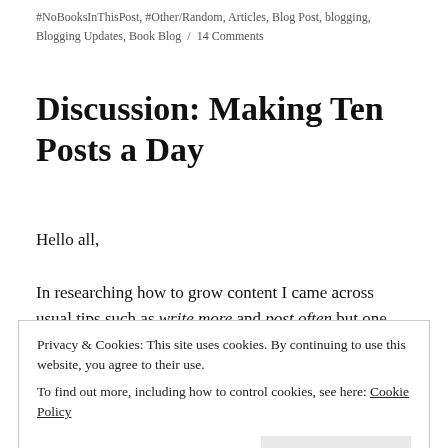#NoBooksInThisPost, #Other/Random, Articles, Blog Post, blogging, Blogging Updates, Book Blog / 14 Comments
Discussion: Making Ten Posts a Day
Hello all,
In researching how to grow content I came across usual tips such as write more and post often but one
Privacy & Cookies: This site uses cookies. By continuing to use this website, you agree to their use.
To find out more, including how to control cookies, see here: Cookie Policy
Close and accept